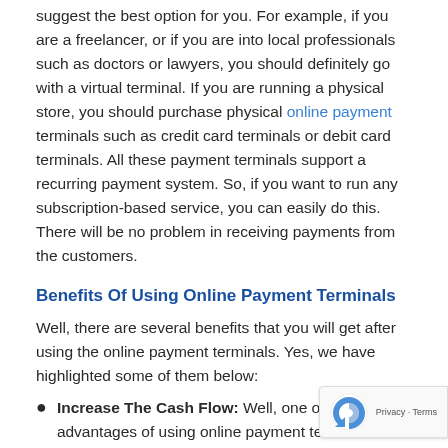Depending upon the nature of your business, they will suggest the best option for you. For example, if you are a freelancer, or if you are into local professionals such as doctors or lawyers, you should definitely go with a virtual terminal. If you are running a physical store, you should purchase physical online payment terminals such as credit card terminals or debit card terminals. All these payment terminals support a recurring payment system. So, if you want to run any subscription-based service, you can easily do this. There will be no problem in receiving payments from the customers.
Benefits Of Using Online Payment Terminals
Well, there are several benefits that you will get after using the online payment terminals. Yes, we have highlighted some of them below:
Increase The Cash Flow: Well, one of the main advantages of using online payment terminals is that it will increase the cash flow in your business. Yes, when you